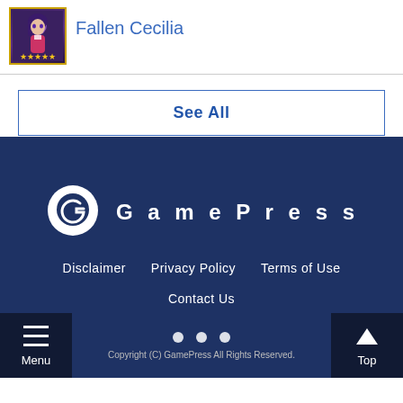[Figure (illustration): Character thumbnail of Fallen Cecilia with 5 gold stars below, anime-style art on dark purple background]
Fallen Cecilia
See All
[Figure (logo): GamePress logo: circular G icon with chat bubble and G letter, followed by 'GamePress' text in white on dark blue background]
Disclaimer    Privacy Policy    Terms of Use
Contact Us
Menu
Top
Copyright (C) GamePress All Rights Reserved.